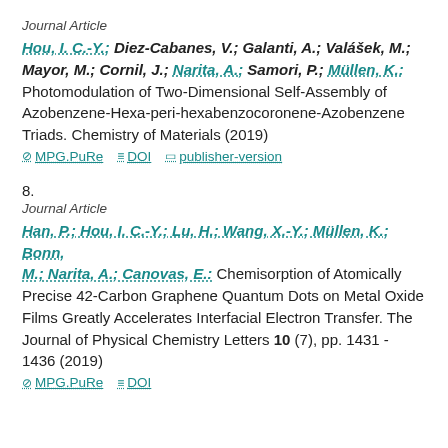Journal Article
Hou, I. C.-Y.; Diez-Cabanes, V.; Galanti, A.; Valášek, M.; Mayor, M.; Cornil, J.; Narita, A.; Samori, P.; Müllen, K.: Photomodulation of Two-Dimensional Self-Assembly of Azobenzene-Hexa-peri-hexabenzocoronene-Azobenzene Triads. Chemistry of Materials (2019)
MPG.PuRe   DOI   publisher-version
8.
Journal Article
Han, P.; Hou, I. C.-Y.; Lu, H.; Wang, X.-Y.; Müllen, K.; Bonn, M.; Narita, A.; Canovas, E.: Chemisorption of Atomically Precise 42-Carbon Graphene Quantum Dots on Metal Oxide Films Greatly Accelerates Interfacial Electron Transfer. The Journal of Physical Chemistry Letters 10 (7), pp. 1431 - 1436 (2019)
MPG.PuRe   DOI